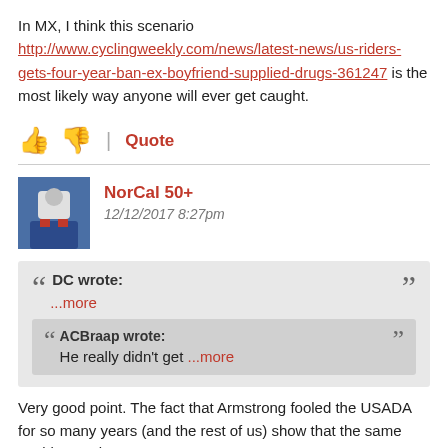In MX, I think this scenario http://www.cyclingweekly.com/news/latest-news/us-riders-gets-four-year-ban-ex-boyfriend-supplied-drugs-361247 is the most likely way anyone will ever get caught.
[Figure (other): Thumbs up and thumbs down reaction icons in dark red, followed by a vertical separator and a Quote link in dark red.]
NorCal 50+
12/12/2017 8:27pm
DC wrote: ...more ACBraap wrote: He really didn't get ...more
Very good point. The fact that Armstrong fooled the USADA for so many years (and the rest of us) show that the same could occur in motocross.